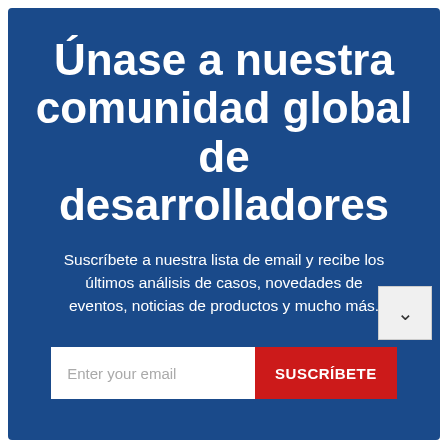Únase a nuestra comunidad global de desarrolladores
Suscríbete a nuestra lista de email y recibe los últimos análisis de casos, novedades de eventos, noticias de productos y mucho más.
[Figure (other): Email subscription form with text input field labeled 'Enter your email' and a red button labeled 'SUSCRÍBETE']